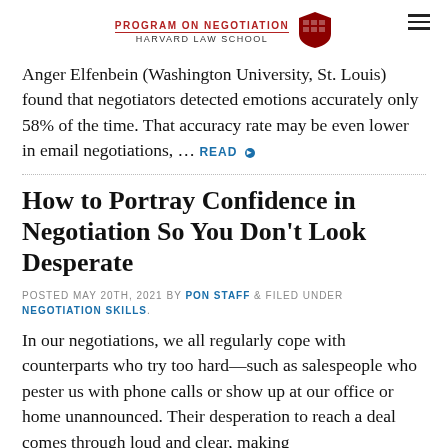PROGRAM ON NEGOTIATION HARVARD LAW SCHOOL
Anger Elfenbein (Washington University, St. Louis) found that negotiators detected emotions accurately only 58% of the time. That accuracy rate may be even lower in email negotiations, … READ
How to Portray Confidence in Negotiation So You Don't Look Desperate
POSTED MAY 20TH, 2021 BY PON STAFF & FILED UNDER NEGOTIATION SKILLS.
In our negotiations, we all regularly cope with counterparts who try too hard—such as salespeople who pester us with phone calls or show up at our office or home unannounced. Their desperation to reach a deal comes through loud and clear, making